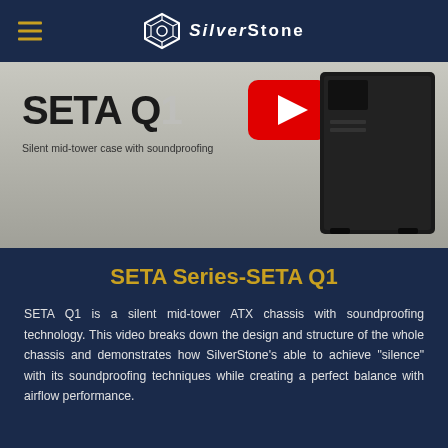SilverStone
[Figure (photo): Hero image showing SETA Q1 product name, subtitle 'Silent mid-tower case with soundproofing', a YouTube play button overlay, and a black mid-tower PC case on the right]
SETA Series-SETA Q1
SETA Q1 is a silent mid-tower ATX chassis with soundproofing technology. This video breaks down the design and structure of the whole chassis and demonstrates how SilverStone’s able to achieve “silence” with its soundproofing techniques while creating a perfect balance with airflow performance.